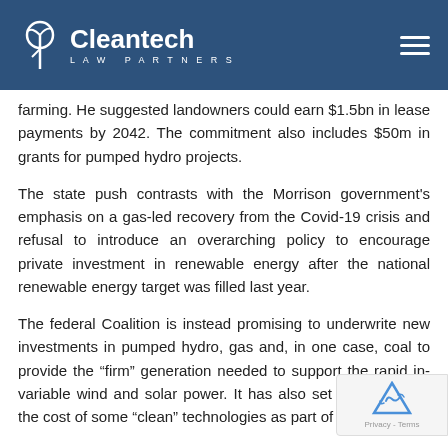Cleantech Law Partners
farming. He suggested landowners could earn $1.5bn in lease payments by 2042. The commitment also includes $50m in grants for pumped hydro projects.
The state push contrasts with the Morrison government's emphasis on a gas-led recovery from the Covid-19 crisis and refusal to introduce an overarching policy to encourage private investment in renewable energy after the national renewable energy target was filled last year.
The federal Coalition is instead promising to underwrite new investments in pumped hydro, gas and, in one case, coal to provide the “firm” generation needed to support the rapid in variable wind and solar power. It has also set “stretch lower the cost of some “clean” technologies as part of its